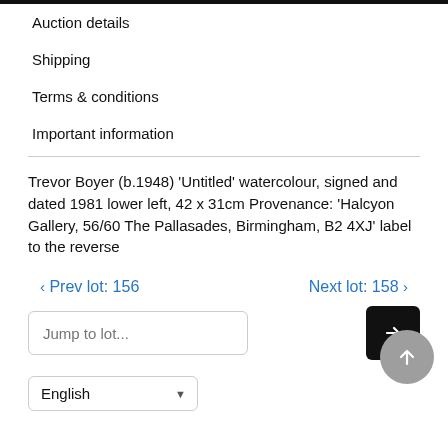Auction details
Shipping
Terms & conditions
Important information
Trevor Boyer (b.1948) 'Untitled' watercolour, signed and dated 1981 lower left, 42 x 31cm Provenance: 'Halcyon Gallery, 56/60 The Pallasades, Birmingham, B2 4XJ' label to the reverse
‹ Prev lot: 156   Next lot: 158 ›